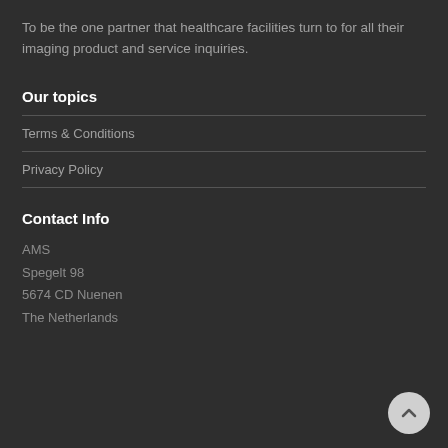To be the one partner that healthcare facilities turn to for all their imaging product and service inquiries.
Our topics
Terms & Conditions
Privacy Policy
Contact Info
AMS
Spegelt 98
5674 CD Nuenen
The Netherlands